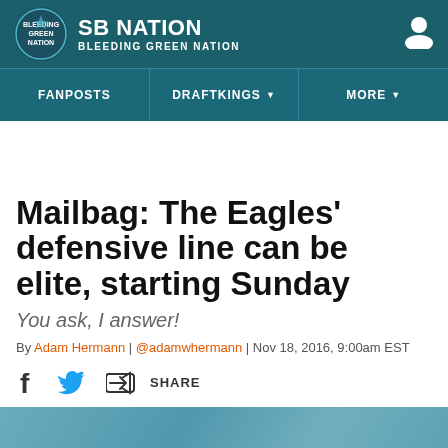SB NATION — BLEEDING GREEN NATION
Mailbag: The Eagles' defensive line can be elite, starting Sunday
You ask, I answer!
By Adam Hermann | @adamwhermann | Nov 18, 2016, 9:00am EST
SHARE